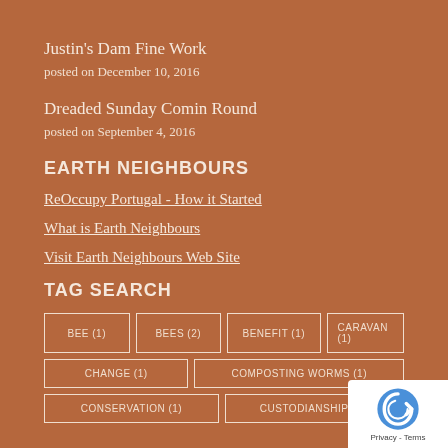Justin's Dam Fine Work
posted on December 10, 2016
Dreaded Sunday Comin Round
posted on September 4, 2016
EARTH NEIGHBOURS
ReOccupy Portugal - How it Started
What is Earth Neighbours
Visit Earth Neighbours Web Site
TAG SEARCH
BEE (1)
BEES (2)
BENEFIT (1)
CARAVAN (1)
CHANGE (1)
COMPOSTING WORMS (1)
CONSERVATION (1)
CUSTODIANSHIP (1)